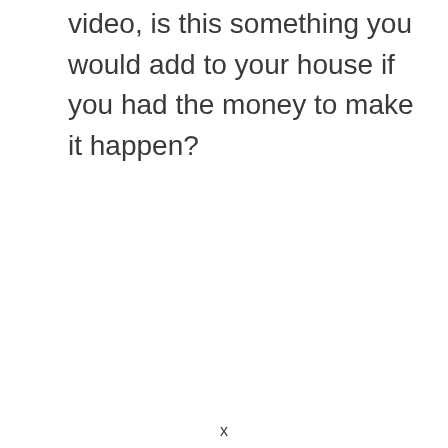video, is this something you would add to your house if you had the money to make it happen?
x